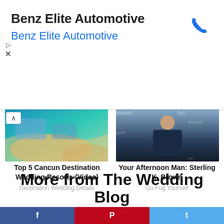[Figure (other): Advertisement banner for Benz Elite Automotive with phone icon]
Benz Elite Automotive
Benz Elite Automotive
[Figure (photo): Aerial view of Cancun beach resort with turquoise water]
Top 5 Cancun Destination Wedding Resorts (Video)
Destination Wedding Details
[Figure (photo): Sterling K. Brown in front of SiriusXM backdrop]
Your Afternoon Man: Sterling K. Brown
Go Fug Yourself
powered by PubExchange
FILED UNDER: UNCATEGORIZED
More from The Wedding Blog
[Figure (other): Social share buttons: Facebook, Pinterest, Twitter]